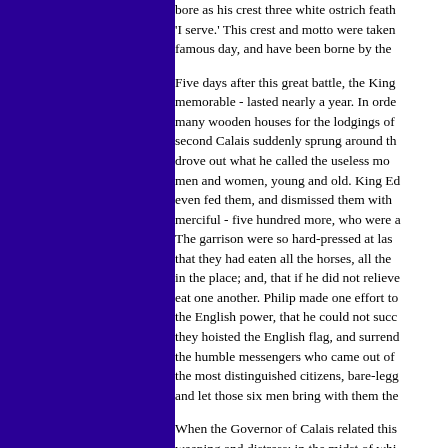bore as his crest three white ostrich feathers, with the motto, 'I serve.' This crest and motto were taken from him on that famous day, and have been borne by the
Five days after this great battle, the King laid siege to Calais - memorable - lasted nearly a year. In order to maintain his army, many wooden houses for the lodgings of his troops, so that a second Calais suddenly sprung around the walls of the first. He drove out what he called the useless mouths of the place - the men and women, young and old. King Edward being unusually even fed them, and dismissed them with money in their pockets. merciful - five hundred more, who were also sent away by him. The garrison were so hard-pressed at last, and so short of food, that they had eaten all the horses, all the dogs, and all the rats in the place; and, that if he did not relieve them they must eat one another. Philip made one effort to raise the siege, but the English power, that he could not succeed. Calais being taken, they hoisted the English flag, and surrendered. It was proposed the humble messengers who came out of Calais, that six of the most distinguished citizens, bare-legged and bare-footed, and let those six men bring with them the keys of the town.
When the Governor of Calais related this to the people, there weeping and distress; in the midst of which, one worthy man, Pierre, rose up and said, that if the six men must die the whole population would be; therefore, he offered himself as one. His example, five other worthy citizens rose up and offered to die to save the rest. The Governor, who was too ill to walk, rode on a poor old horse that had not been eaten, and all the rest of the the people cried and mourned.